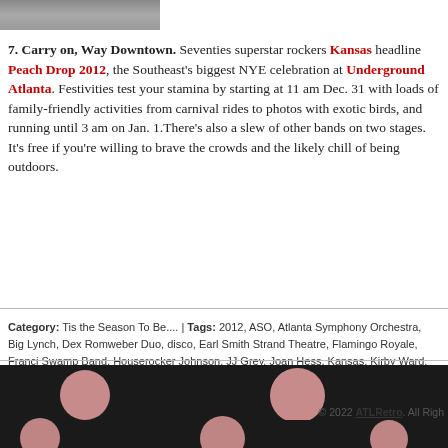[Figure (photo): Partial cropped image at top left, appears to be a dark/colorful photo cropped at top edge]
7. Carry on, Way Downtown. Seventies superstar rockers Kansas headline Peach Drop 2012, the Southeast's biggest NYE celebration at Underground Atlanta. Festivities test your stamina by starting at 11 am Dec. 31 with loads of family-friendly activities from carnival rides to photos with exotic birds, and running until 3 am on Jan. 1.There's also a slew of other bands on two stages. It's free if you're willing to brave the crowds and the likely chill of being outdoors.
Category: Tis the Season To Be.... | Tags: 2012, ASO, Atlanta Symphony Orchestra, Big Lynch, Dex Romweber Duo, disco, Earl Smith Strand Theatre, Flamingo Royale, Franci Swamp Band, Houserocker Johnson, JJ Grey, Joan Hess, Kansas, Kirby Ward, Mad Mo Murray Attaway, new years eve, Peach Drop, Plaza Theatre, Professor Morte, Rankin-B Strand Theatre, The Shadows, Underground Atlanta, Variety Playhouse
© 2022 ATLRetro. All Righ